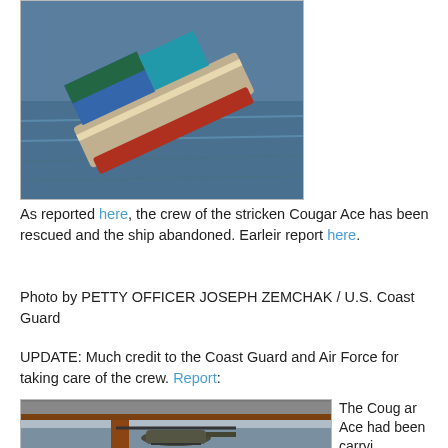[Figure (photo): Aerial photo of the Cougar Ace cargo ship listing heavily in ocean waters, with shipping containers visible on deck]
As reported here, the crew of the stricken Cougar Ace has been rescued and the ship abandoned. Earleir report here.
Photo by PETTY OFFICER JOSEPH ZEMCHAK / U.S. Coast Guard
UPDATE: Much credit to the Coast Guard and Air Force for taking care of the crew. Report:
[Figure (photo): Military helicopter flying under the Golden Gate Bridge]
The Cougar Ace had been carryi